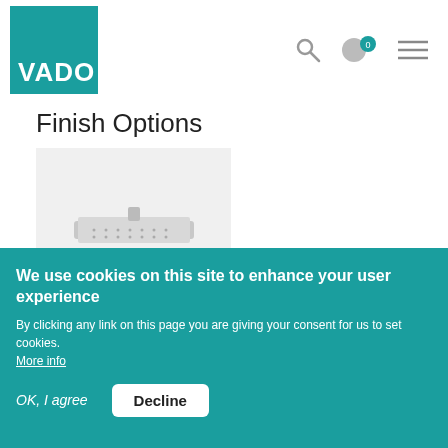[Figure (logo): VADO brand logo — white text on teal square background]
Finish Options
[Figure (photo): Square overhead shower head in brushed steel/chrome finish, shown on light grey background]
FIND A STOCKIST
We use cookies on this site to enhance your user experience
By clicking any link on this page you are giving your consent for us to set cookies. More info
OK, I agree
Decline